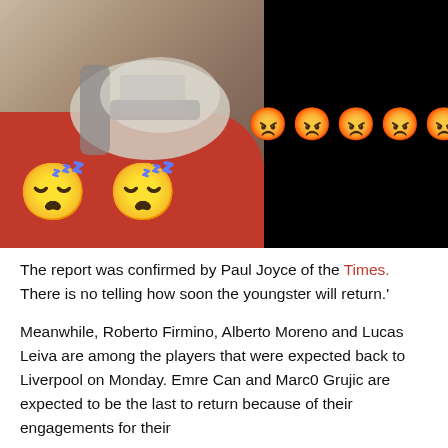[Figure (photo): Composite image: left half shows a sports boot/shoe on red fabric with two sleeping face emojis (😴😴) overlaid; right half is black background with five angry face emojis (😡😡😡😡😡) displayed.]
The report was confirmed by Paul Joyce of the Times. There is no telling how soon the youngster will return.'
Meanwhile, Roberto Firmino, Alberto Moreno and Lucas Leiva are among the players that were expected back to Liverpool on Monday. Emre Can and Marc0 Grujic are expected to be the last to return because of their engagements for their